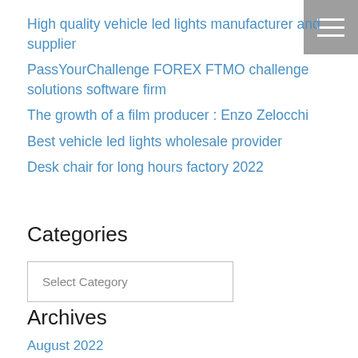High quality vehicle led lights manufacturer and supplier
PassYourChallenge FOREX FTMO challenge solutions software firm
The growth of a film producer : Enzo Zelocchi
Best vehicle led lights wholesale provider
Desk chair for long hours factory 2022
Categories
Select Category
Archives
August 2022